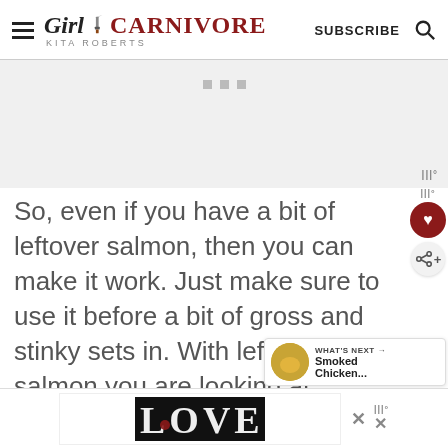Girl Carnivore – Kita Roberts | SUBSCRIBE
[Figure (screenshot): Advertisement placeholder area with three gray dots]
So, even if you have a bit of leftover salmon, then you can make it work. Just make sure to use it before a bit of gross and stinky sets in. With leftover salmon you are looking at
[Figure (screenshot): LOVE advertisement banner at bottom of page]
[Figure (screenshot): What's Next widget showing Smoked Chicken...]